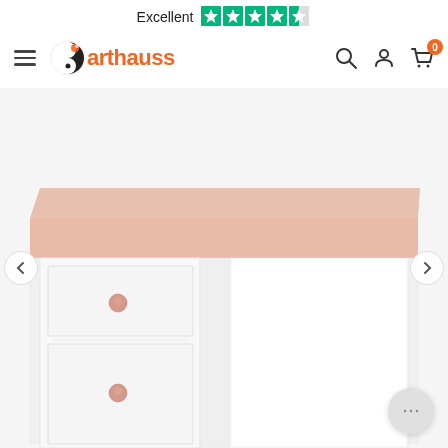[Figure (logo): Trustpilot Excellent rating with 4.5 green stars]
[Figure (logo): Arthauss furniture website navigation bar with hamburger menu, Arthauss logo, search icon, account icon, and cart icon showing 0 items]
[Figure (photo): White children's/youth desk with pink top surface, two drawers with pink round knobs, a cabinet section with door, and an open shelf section on the right side. Navigation arrows visible on left and right. Chat bubble icon in bottom right.]